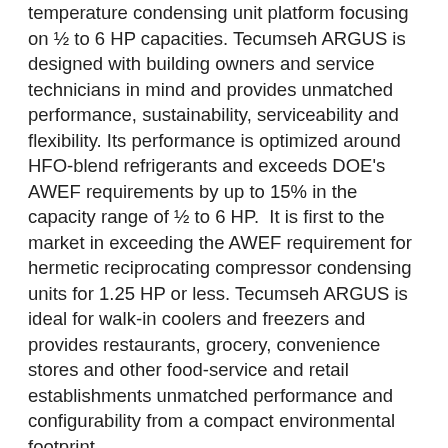temperature condensing unit platform focusing on ½ to 6 HP capacities. Tecumseh ARGUS is designed with building owners and service technicians in mind and provides unmatched performance, sustainability, serviceability and flexibility. Its performance is optimized around HFO-blend refrigerants and exceeds DOE's AWEF requirements by up to 15% in the capacity range of ½ to 6 HP. It is first to the market in exceeding the AWEF requirement for hermetic reciprocating compressor condensing units for 1.25 HP or less. Tecumseh ARGUS is ideal for walk-in coolers and freezers and provides restaurants, grocery, convenience stores and other food-service and retail establishments unmatched performance and configurability from a compact environmental footprint.
Tecumseh ARGUS is a next generation platform that delivers sustainable solutions. It is optimized specifically for HFO-blend refrigerants while also combining with...